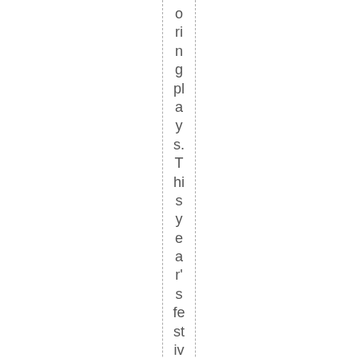originally plays. This year's festival will featu